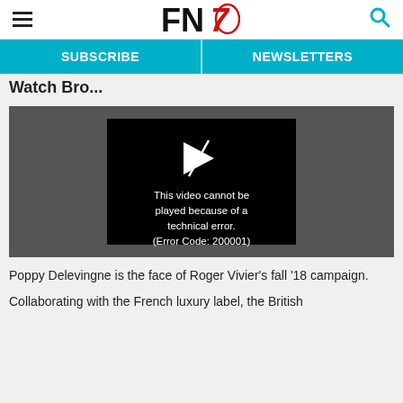FN7 [logo with hamburger menu and search icon]
SUBSCRIBE | NEWSLETTERS
Watch Bro...
[Figure (screenshot): Video player showing error message: This video cannot be played because of a technical error. (Error Code: 200001)]
Poppy Delevingne is the face of Roger Vivier’s fall ’18 campaign.
Collaborating with the French luxury label, the British